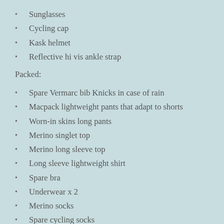Sunglasses
Cycling cap
Kask helmet
Reflective hi vis ankle strap
Packed:
Spare Vermarc bib Knicks in case of rain
Macpack lightweight pants that adapt to shorts
Worn-in skins long pants
Merino singlet top
Merino long sleeve top
Long sleeve lightweight shirt
Spare bra
Underwear x 2
Merino socks
Spare cycling socks
Kathmandu alpha down jacket
Rapha commuter rain jacket